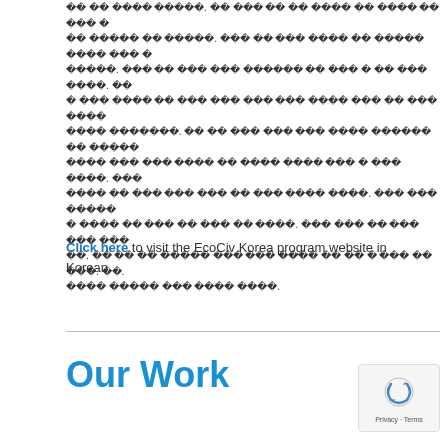[Korean text paragraphs - unrenderable characters shown as placeholder boxes across multiple lines]
Click here to visit the EcoCiv Korea program website in Korean.
Our Work
[Figure (logo): reCAPTCHA privacy badge with blue circular arrow icon and 'Privacy - Terms' text]